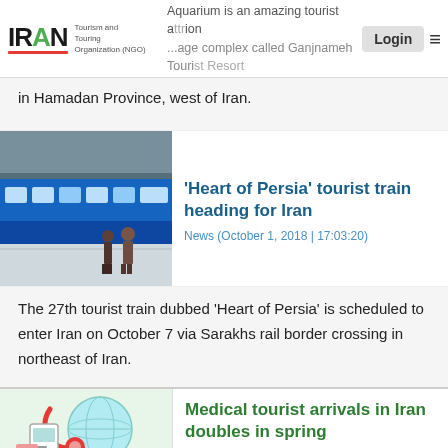IRAN Tourism and Touring Organization (NGO) | Aquarium is an amazing tourist attraction ... large complex called Ganjnameh Tourist Resort in Hamadan Province, west of Iran.
Aquarium is an amazing tourist attraction ... large complex called Ganjnameh Tourist Resort in Hamadan Province, west of Iran.
[Figure (photo): Photo of a blue train at a station platform with people standing nearby]
'Heart of Persia' tourist train heading for Iran
News (October 1, 2018 | 17:03:20)
The 27th tourist train dubbed 'Heart of Persia' is scheduled to enter Iran on October 7 via Sarakhs rail border crossing in northeast of Iran.
[Figure (illustration): Medical tourism illustration with stethoscope and globe]
Medical tourist arrivals in Iran doubles in spring
News (September 28, 2018 | 13:44:41)